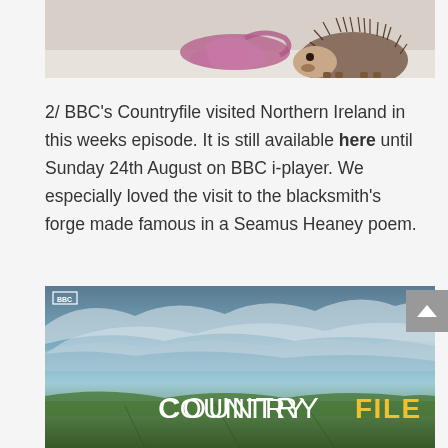[Figure (photo): Partial photo of a hedgehog next to a pink ribbon/string on a light background, cropped at the bottom of the frame.]
2/ BBC’s Countryfile visited Northern Ireland in this weeks episode. It is still available here until Sunday 24th August on BBC i-player. We especially loved the visit to the blacksmith’s forge made famous in a Seamus Heaney poem.
[Figure (screenshot): BBC Countryfile TV show title card. Wide landscape shot with dramatic sky, green fields in the foreground, and the text COUNTRYFILE overlaid in large white and yellow letters with a small BBC logo in the top left.]